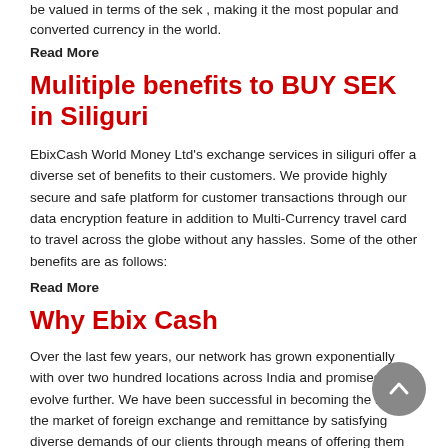be valued in terms of the sek , making it the most popular and converted currency in the world.
Read More
Mulitiple benefits to BUY SEK in Siliguri
EbixCash World Money Ltd's exchange services in siliguri offer a diverse set of benefits to their customers. We provide highly secure and safe platform for customer transactions through our data encryption feature in addition to Multi-Currency travel card to travel across the globe without any hassles. Some of the other benefits are as follows:
Read More
Why Ebix Cash
Over the last few years, our network has grown exponentially with over two hundred locations across India and promises to evolve further. We have been successful in becoming the best in the market of foreign exchange and remittance by satisfying diverse demands of our clients through means of offering them best forex